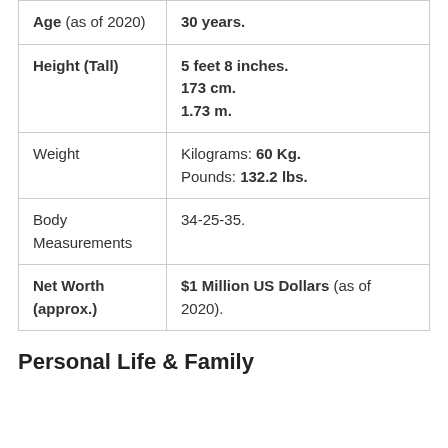| Age (as of 2020) | 30 years. |
| Height (Tall) | 5 feet 8 inches.
173 cm.
1.73 m. |
| Weight | Kilograms: 60 Kg.
Pounds: 132.2 lbs. |
| Body Measurements | 34-25-35. |
| Net Worth (approx.) | $1 Million US Dollars (as of 2020). |
Personal Life & Family